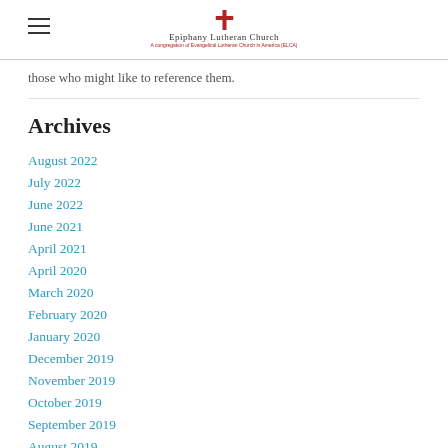Epiphany Lutheran Church
those who might like to reference them.
Archives
August 2022
July 2022
June 2022
June 2021
April 2021
April 2020
March 2020
February 2020
January 2020
December 2019
November 2019
October 2019
September 2019
August 2019